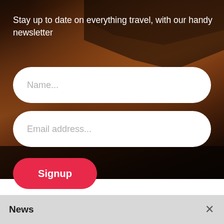[Figure (photo): Dark sunset background photo with airplane wing silhouette, warm orange-brown tones]
Stay up to date on everything travel, with our handy newsletter
Name...
Email address...
Signup
News